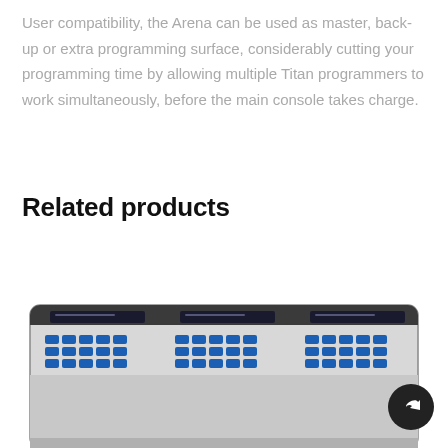User compatibility, the Arena can be used as master, back-up or extra programming surface, considerably cutting your programming time by allowing multiple Titan programmers to work simultaneously, before the main console takes charge.
Related products
[Figure (photo): Photo of a lighting control console/desk device with multiple display screens and blue buttons arranged in rows, partially cropped at bottom of page]